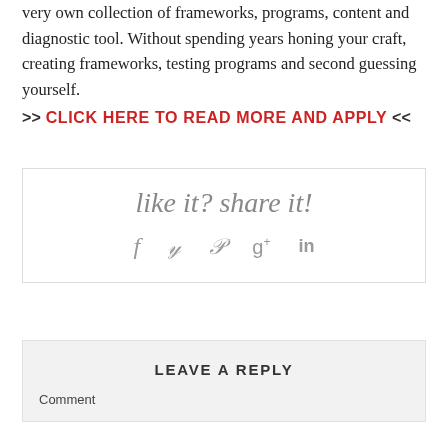very own collection of frameworks, programs, content and diagnostic tool. Without spending years honing your craft, creating frameworks, testing programs and second guessing yourself.
>> CLICK HERE TO READ MORE AND APPLY <<
[Figure (infographic): Social sharing widget with cursive text 'like it? share it!' and social media icons for Facebook, Twitter, Pinterest, Google+, and LinkedIn]
LEAVE A REPLY
Comment